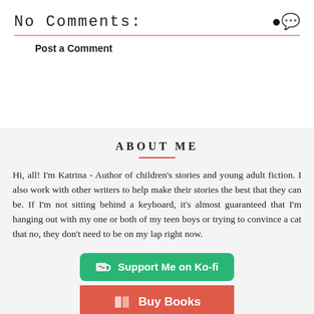No Comments:
Post a Comment
ABOUT ME
Hi, all! I'm Katrina - Author of children's stories and young adult fiction. I also work with other writers to help make their stories the best that they can be. If I'm not sitting behind a keyboard, it's almost guaranteed that I'm hanging out with my one or both of my teen boys or trying to convince a cat that no, they don't need to be on my lap right now.
[Figure (other): Support Me on Ko-fi button (teal/green rounded button with coffee cup icon)]
[Figure (other): Buy Books button (red/coral button with book icon)]